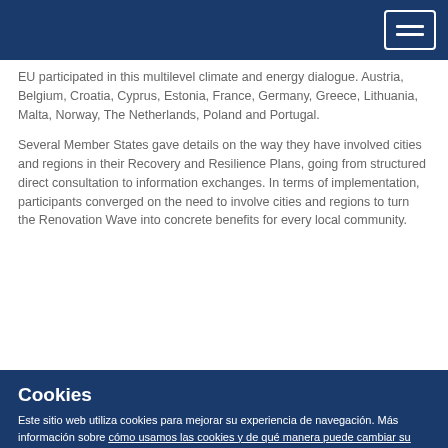EU participated in this multilevel climate and energy dialogue. Austria, Belgium, Croatia, Cyprus, Estonia, France, Germany, Greece, Lithuania, Malta, Norway, The Netherlands, Poland and Portugal.
Several Member States gave details on the way they have involved cities and regions in their Recovery and Resilience Plans, going from structured direct consultation to information exchanges. In terms of implementation, participants converged on the need to involve cities and regions to turn the Renovation Wave into concrete benefits for every local community.
Cookies
Este sitio web utiliza cookies para mejorar su experiencia de navegación. Más información sobre cómo usamos las cookies y de qué manera puede cambiar su configuración.
Acepto las cookies
Rechazo las cookies